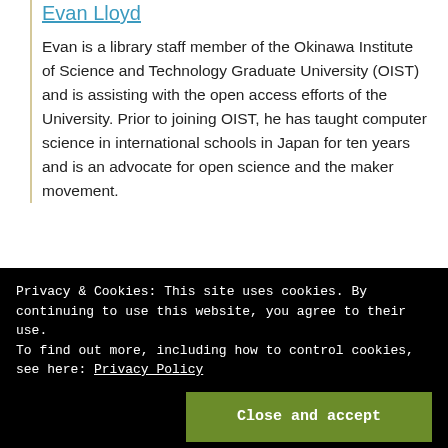Evan Lloyd
Evan is a library staff member of the Okinawa Institute of Science and Technology Graduate University (OIST) and is assisting with the open access efforts of the University. Prior to joining OIST, he has taught computer science in international schools in Japan for ten years and is an advocate for open science and the maker movement.
Privacy & Cookies: This site uses cookies. By continuing to use this website, you agree to their use.
To find out more, including how to control cookies, see here: Privacy Policy
Close and accept
CIFAR: Innovative Uses of the Affiliation Manager— Invited Position...
How We're Improving ORCID Records in 2022
May 25, 2022...